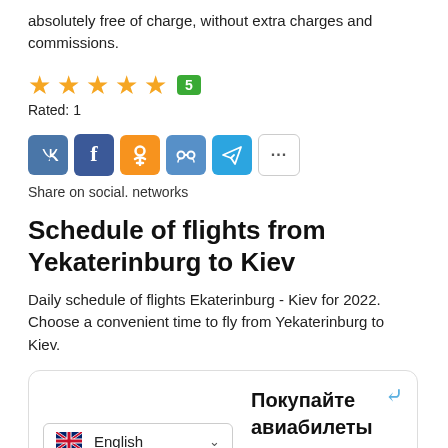absolutely free of charge, without extra charges and commissions.
[Figure (other): 5-star rating with green badge showing number 5, followed by text 'Rated: 1']
[Figure (other): Social sharing buttons: VK, Facebook, Odnoklassniki, MyWorld, Telegram, and more (...)]
Share on social. networks
Schedule of flights from Yekaterinburg to Kiev
Daily schedule of flights Ekaterinburg - Kiev for 2022. Choose a convenient time to fly from Yekaterinburg to Kiev.
[Figure (screenshot): Widget box with English language selector and Russian text 'Покупайте авиабилеты выгодно' with a scroll-up arrow icon]